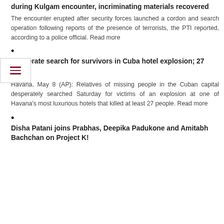during Kulgam encounter, incriminating materials recovered
The encounter erupted after security forces launched a cordon and search operation following reports of the presence of terrorists, the PTI reported, according to a police official. Read more
•
Desperate search for survivors in Cuba hotel explosion; 27 dead
Havana, May 8 (AP): Relatives of missing people in the Cuban capital desperately searched Saturday for victims of an explosion at one of Havana's most luxurious hotels that killed at least 27 people. Read more
•
Disha Patani joins Prabhas, Deepika Padukone and Amitabh Bachchan on Project K!